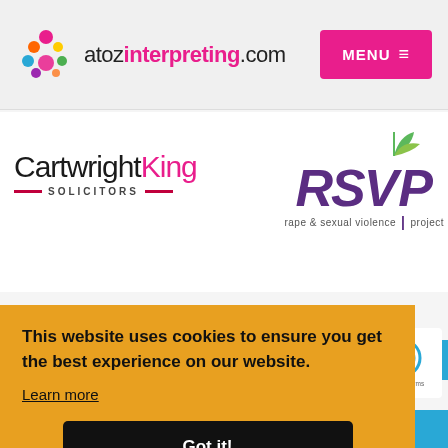atozinterpreting.com MENU
[Figure (logo): CartwrightKing Solicitors logo in black and pink]
[Figure (logo): RSVP rape & sexual violence project logo in purple and green]
This website uses cookies to ensure you get the best experience on our website.
Learn more
Got it!
interpreting services to NHS Midlands and